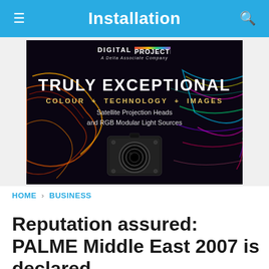Installation
[Figure (illustration): Digital Projection advertisement banner. Black background with colorful light streaks. Text reads: DIGITAL PROJECTION, A Delta Associate Company, TRULY EXCEPTIONAL, COLOUR + TECHNOLOGY + IMAGES, Satellite Projection Heads and RGB Modular Light Sources. Shows a projection camera head unit.]
HOME › BUSINESS
Reputation assured: PALME Middle East 2007 is declared